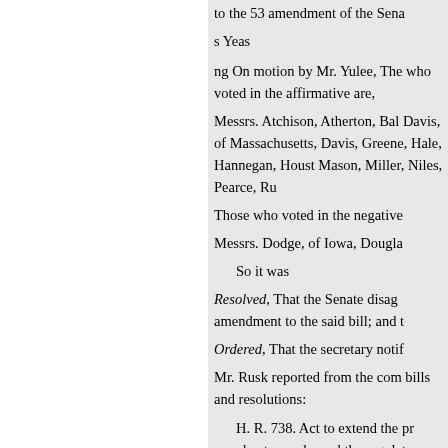to the 53 amendment of the Sena
s Yeas
ng On motion by Mr. Yulee, The who voted in the affirmative are,
Messrs. Atchison, Atherton, Bal Davis, of Massachusetts, Davis, Greene, Hale, Hannegan, Houst Mason, Miller, Niles, Pearce, Ru
Those who voted in the negative
Messrs. Dodge, of Iowa, Dougla
So it was
Resolved, That the Senate disag amendment to the said bill; and t
Ordered, That the secretary notif
Mr. Rusk reported from the com bills and resolutions:
H. R. 738. Act to extend the pr merchant vessels, and the regulat